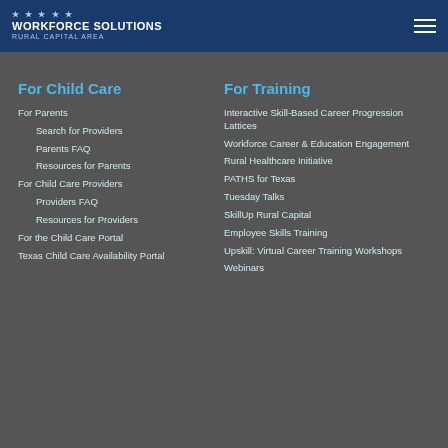Workforce Solutions Rural Capital Area
For Child Care
For Parents
Search for Providers
Parents FAQ
Resources for Parents
For Child Care Providers
Providers FAQ
Resources for Providers
For the Child Care Portal
Texas Child Care Availability Portal
For Training
Interactive Skill-Based Career Progression Lattices
Workforce Career & Education Engagement
Rural Healthcare Initiative
PATHS for Texas
Tuesday Talks
SkillUp Rural Capital
Employee Skills Training
Upskill: Virtual Career Training Workshops
Webinars